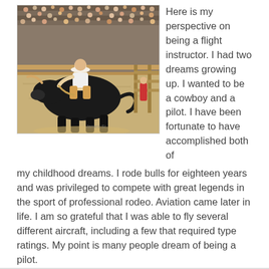[Figure (photo): A bull rider at a rodeo, riding a bucking black bull in an arena with spectators in the stands behind him.]
Here is my perspective on being a flight instructor. I had two dreams growing up. I wanted to be a cowboy and a pilot. I have been fortunate to have accomplished both of my childhood dreams. I rode bulls for eighteen years and was privileged to compete with great legends in the sport of professional rodeo. Aviation came later in life. I am so grateful that I was able to fly several different aircraft, including a few that required type ratings. My point is many people dream of being a pilot.
Read More